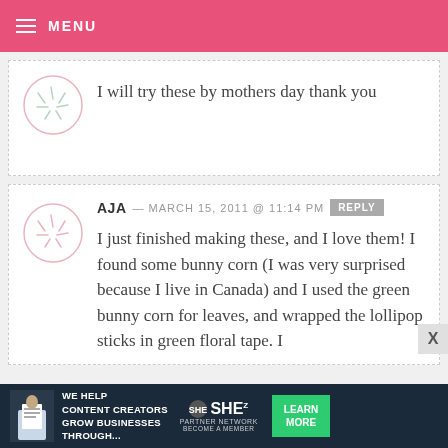MENU
I will try these by mothers day thank you
AJA — MARCH 15, 2011 @ 11:14 PM
I just finished making these, and I love them! I found some bunny corn (I was very surprised because I live in Canada) and I used the green bunny corn for leaves, and wrapped the lollipop sticks in green floral tape. I
[Figure (infographic): Advertisement banner: WE HELP CONTENT CREATORS GROW BUSINESSES THROUGH... SHE PARTNER NETWORK BECOME A MEMBER LEARN MORE]